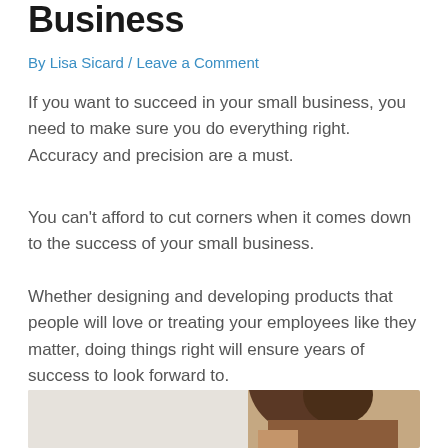Business
By Lisa Sicard / Leave a Comment
If you want to succeed in your small business, you need to make sure you do everything right. Accuracy and precision are a must.
You can't afford to cut corners when it comes down to the success of your small business.
Whether designing and developing products that people will love or treating your employees like they matter, doing things right will ensure years of success to look forward to.
[Figure (photo): Photo of a person with curly hair, partially visible at the bottom of the page]